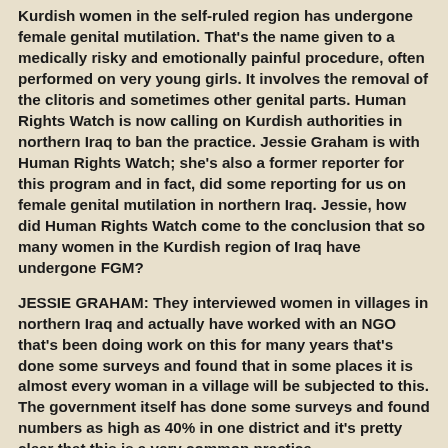Kurdish women in the self-ruled region has undergone female genital mutilation. That's the name given to a medically risky and emotionally painful procedure, often performed on very young girls. It involves the removal of the clitoris and sometimes other genital parts. Human Rights Watch is now calling on Kurdish authorities in northern Iraq to ban the practice. Jessie Graham is with Human Rights Watch; she's also a former reporter for this program and in fact, did some reporting for us on female genital mutilation in northern Iraq. Jessie, how did Human Rights Watch come to the conclusion that so many women in the Kurdish region of Iraq have undergone FGM?
JESSIE GRAHAM: They interviewed women in villages in northern Iraq and actually have worked with an NGO that's been doing work on this for many years that's done some surveys and found that in some places it is almost every woman in a village will be subjected to this. The government itself has done some surveys and found numbers as high as 40% in one district and it's pretty clear that this is a very common practice.